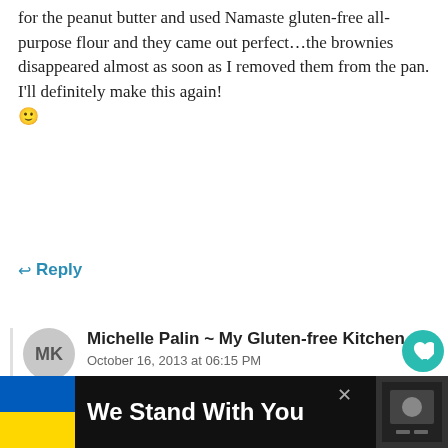for the peanut butter and used Namaste gluten-free all-purpose flour and they came out perfect…the brownies disappeared almost as soon as I removed them from the pan. I'll definitely make this again! 🙂
↩ Reply
Michelle Palin ~ My Gluten-free Kitchen
October 16, 2013 at 06:15 PM
Emily,
Thanks so much for stopping by to rate and comment on the recipe. I appreciate you
[Figure (infographic): WHAT'S NEXT arrow label with thumbnail image and text: Gluten-free Dutch Apple...]
We Stand With You